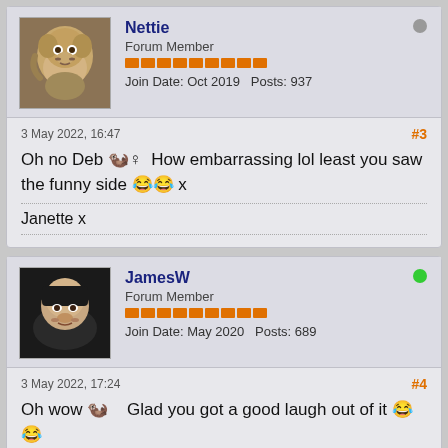Nettie — Forum Member — Join Date: Oct 2019 Posts: 937
3 May 2022, 16:47 #3
Oh no Deb 🦦♀ How embarrassing lol least you saw the funny side 😂😂 x
Janette x
JamesW — Forum Member — Join Date: May 2020 Posts: 689
3 May 2022, 17:24 #4
Oh wow 🦦    Glad you got a good laugh out of it 😂😂